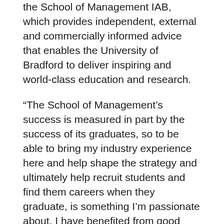the School of Management IAB, which provides independent, external and commercially informed advice that enables the University of Bradford to deliver inspiring and world-class education and research.
“The School of Management’s success is measured in part by the success of its graduates, so to be able to bring my industry experience here and help shape the strategy and ultimately help recruit students and find them careers when they graduate, is something I’m passionate about. I have benefited from good advice during my education and career, so if I can help mentor others, that’s something I am keen to do.”
Aside from his business acumen, Owais was also able to nurture his passion for music during his time at Bradford. Indeed, he formed what he believes was the University’s first South Asian rock band which had the